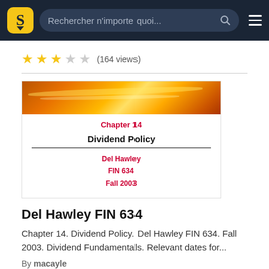Rechercher n'importe quoi...
[Figure (screenshot): Star rating showing 3 out of 5 stars with (164 views)]
[Figure (screenshot): Slide preview showing Chapter 14 Dividend Policy by Del Hawley FIN 634 Fall 2003 with orange/yellow gradient banner]
Del Hawley FIN 634
Chapter 14. Dividend Policy. Del Hawley FIN 634. Fall 2003. Dividend Fundamentals. Relevant dates for...
By macayle